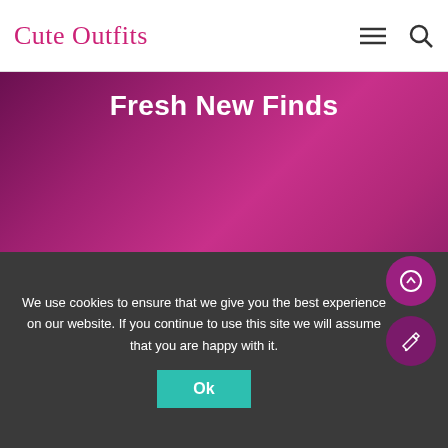Cute Outfits
Fresh New Finds
[Figure (screenshot): Magenta/purple gradient hero background image area]
We use cookies to ensure that we give you the best experience on our website. If you continue to use this site we will assume that you are happy with it.